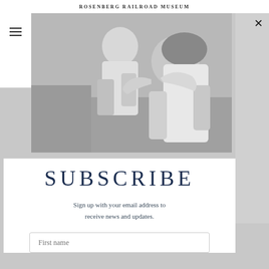ROSENBERG RAILROAD MUSEUM
[Figure (photo): Black and white photo of a woman and child embracing on a couch, child leans in toward woman's face]
SUBSCRIBE
Sign up with your email address to receive news and updates.
First name